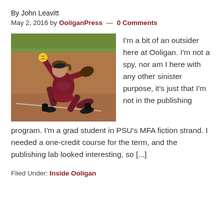By John Leavitt
May 2, 2016 by OoliganPress — 0 Comments
[Figure (photo): A softball pitcher in a maroon uniform mid-wind-up, throwing a yellow ball on a dirt field.]
I'm a bit of an outsider here at Ooligan. I'm not a spy, nor am I here with any other sinister purpose, it's just that I'm not in the publishing program. I'm a grad student in PSU's MFA fiction strand. I needed a one-credit course for the term, and the publishing lab looked interesting, so [...]
Filed Under: Inside Ooligan